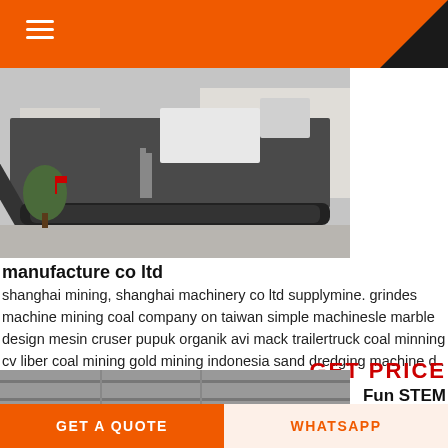[Figure (photo): Mobile mining/crushing machine on tracked undercarriage, photographed outdoors at a facility yard]
manufacture co ltd
shanghai mining, shanghai machinery co ltd supplymine. grindes machine mining coal company on taiwan simple machinesle marble design mesin cruser pupuk organik avi mack trailertruck coal minning cv liber coal mining gold mining indonesia sand dredging machine d .
GET PRICE
Fun STEM Challenges
[Figure (photo): Industrial interior/building structure photo, partially visible]
GET A QUOTE
WHATSAPP